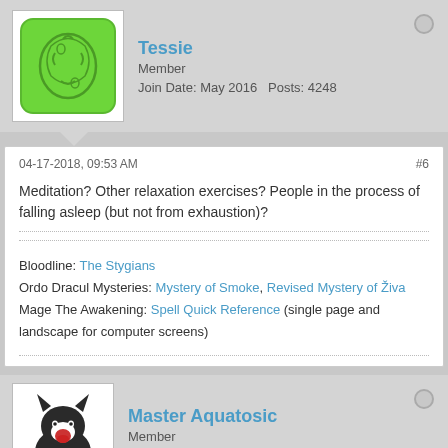[Figure (illustration): Green dice-shaped avatar for user Tessie]
Tessie
Member
Join Date: May 2016   Posts: 4248
04-17-2018, 09:53 AM   #6
Meditation? Other relaxation exercises? People in the process of falling asleep (but not from exhaustion)?
Bloodline: The Stygians
Ordo Dracul Mysteries: Mystery of Smoke, Revised Mystery of Živa
Mage The Awakening: Spell Quick Reference (single page and landscape for computer screens)
[Figure (illustration): Black cat-like character avatar for user Master Aquatosic]
Master Aquatosic
Member
Join Date: Sep 2015   Posts: 2296
04-17-2018, 11:41 AM   #7